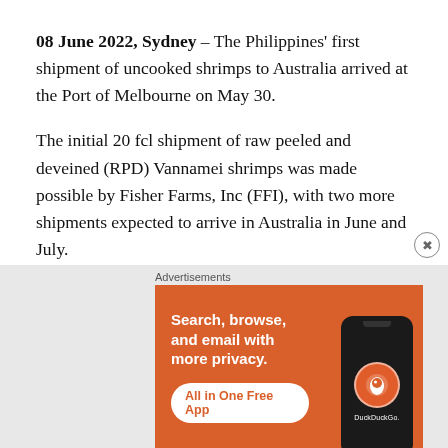08 June 2022, Sydney – The Philippines' first shipment of uncooked shrimps to Australia arrived at the Port of Melbourne on May 30.
The initial 20 fcl shipment of raw peeled and deveined (RPD) Vannamei shrimps was made possible by Fisher Farms, Inc (FFI), with two more shipments expected to arrive in Australia in June and July.
[Figure (other): DuckDuckGo advertisement banner with orange background. Text reads: 'Search, browse, and email with more privacy. All in One Free App'. Shows a phone mockup with DuckDuckGo logo.]